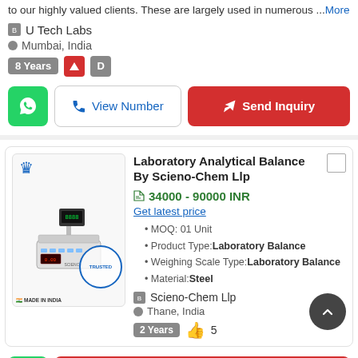to our highly valued clients. These are largely used in numerous ...More
U Tech Labs
Mumbai, India
8 Years
View Number
Send Inquiry
Laboratory Analytical Balance By Scieno-Chem Llp
34000 - 90000 INR
Get latest price
MOQ: 01 Unit
Product Type:Laboratory Balance
Weighing Scale Type:Laboratory Balance
Material:Steel
Scieno-Chem Llp
Thane, India
2 Years  5